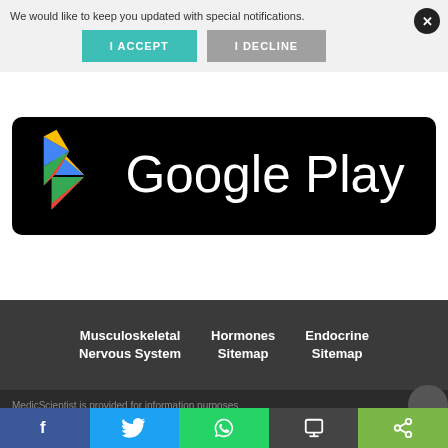We would like to keep you updated with special notifications.
I ACCEPT
I DECLINE
[Figure (logo): Google Play store logo on black rounded rectangle background]
Musculoskeletal Nervous System
Hormones Sitemap
Endocrine Sitemap
MedicScientist is provided for information purposes